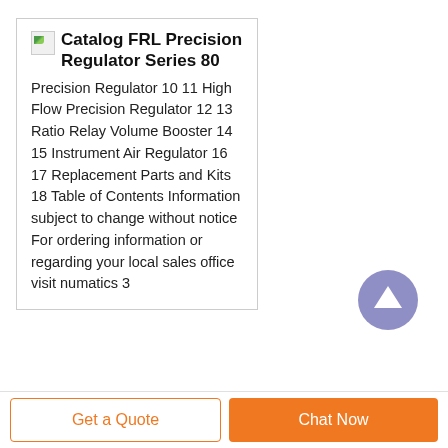Catalog FRL Precision Regulator Series 80
Precision Regulator 10 11 High Flow Precision Regulator 12 13 Ratio Relay Volume Booster 14 15 Instrument Air Regulator 16 17 Replacement Parts and Kits 18 Table of Contents Information subject to change without notice For ordering information or regarding your local sales office visit numatics 3